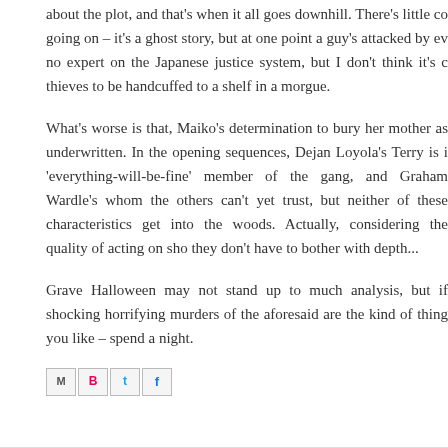about the plot, and that's when it all goes downhill. There's little co going on – it's a ghost story, but at one point a guy's attacked by ev no expert on the Japanese justice system, but I don't think it's c thieves to be handcuffed to a shelf in a morgue.
What's worse is that, Maiko's determination to bury her mother as underwritten. In the opening sequences, Dejan Loyola's Terry is i 'everything-will-be-fine' member of the gang, and Graham Wardle's whom the others can't yet trust, but neither of these characteristics get into the woods. Actually, considering the quality of acting on sho they don't have to bother with depth...
Grave Halloween may not stand up to much analysis, but if shocking horrifying murders of the aforesaid are the kind of thing you like – spend a night.
[Figure (other): Row of four social sharing buttons: email (M), Blogger (B), Twitter (bird icon), Facebook (f)]